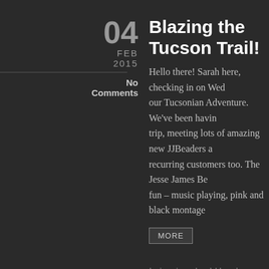Blazing the Tucson Trail!
Hello there! Sarah here, checking in on Wednesday from our Tucsonian Adventure. We’ve been having a great trip, meeting lots of amazing new JJBeaders and recurring customers too. The Jesse James Booth is so fun – music playing, pink and black montage
MORE
by jessejamesbeadsblog  in Uncategorized  Tags: bead demos, teen beading, tucson gem and mineral show, tutor world
Hellloooo Tucson! Setup
Hello from beautiful Tucson, Arizona! Sarah